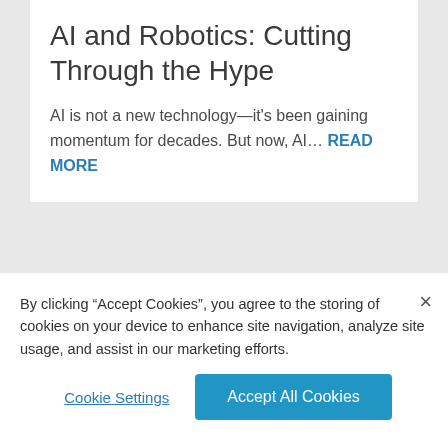AI and Robotics: Cutting Through the Hype
AI is not a new technology—it's been gaining momentum for decades. But now, AI… READ MORE
[Figure (photo): Dark image showing glowing light trails resembling robotic or drone paths against a dark background]
By clicking "Accept Cookies", you agree to the storing of cookies on your device to enhance site navigation, analyze site usage, and assist in our marketing efforts.
Cookie Settings
Accept All Cookies